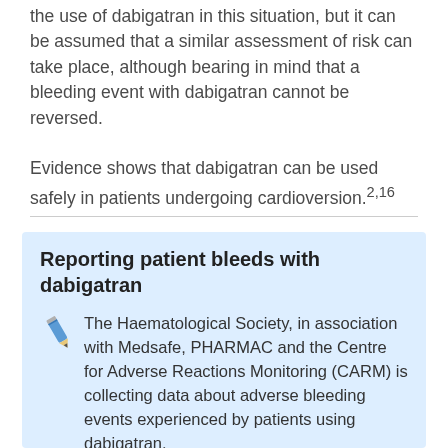the use of dabigatran in this situation, but it can be assumed that a similar assessment of risk can take place, although bearing in mind that a bleeding event with dabigatran cannot be reversed.
Evidence shows that dabigatran can be used safely in patients undergoing cardioversion.2,16
Reporting patient bleeds with dabigatran
The Haematological Society, in association with Medsafe, PHARMAC and the Centre for Adverse Reactions Monitoring (CARM) is collecting data about adverse bleeding events experienced by patients using dabigatran.
Dr Paul Harper, consultant haematologist at